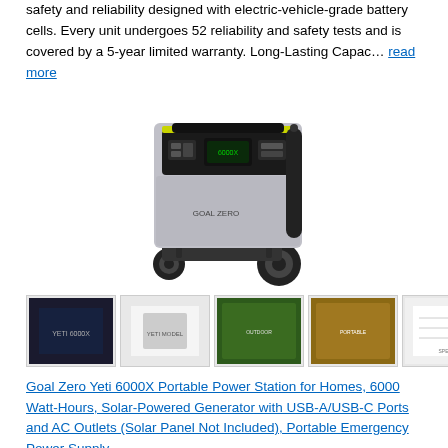safety and reliability designed with electric-vehicle-grade battery cells. Every unit undergoes 52 reliability and safety tests and is covered by a 5-year limited warranty. Long-Lasting Capac... read more
[Figure (photo): Goal Zero Yeti 6000X portable power station product photo - large silver and black unit with yellow accents, handle and wheels]
[Figure (photo): Row of 5 product thumbnail images for the Goal Zero Yeti 6000X]
Goal Zero Yeti 6000X Portable Power Station for Homes, 6000 Watt-Hours, Solar-Powered Generator with USB-A/USB-C Ports and AC Outlets (Solar Panel Not Included), Portable Emergency Power Supply